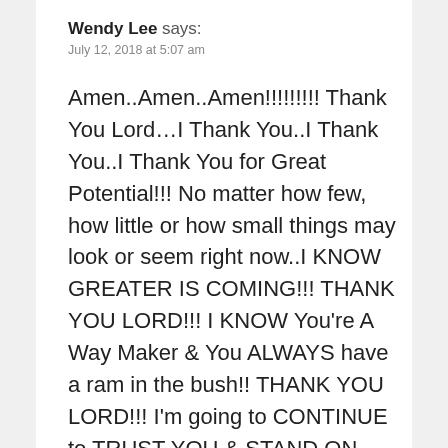Wendy Lee says:
July 12, 2018 at 5:07 am
Amen..Amen..Amen!!!!!!!!! Thank You Lord…I Thank You..I Thank You..I Thank You for Great Potential!!! No matter how few, how little or how small things may look or seem right now..I KNOW GREATER IS COMING!!! THANK YOU LORD!!! I KNOW You're A Way Maker & You ALWAYS have a ram in the bush!! THANK YOU LORD!!! I'm going to CONTINUE to TRUST YOU & STAND ON YOUR WORD!!